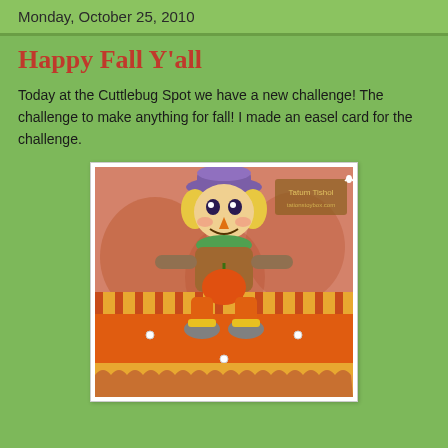Monday, October 25, 2010
Happy Fall Y'all
Today at the Cuttlebug Spot we have a new challenge! The challenge to make anything for fall! I made an easel card for the challenge.
[Figure (photo): A handmade easel card featuring a cute scarecrow character with a purple hat, blonde hair, orange body, sitting and holding a pumpkin. The background shows orange and striped patterned paper with a pumpkin scene. The card has decorative elements including pearls/brads.]